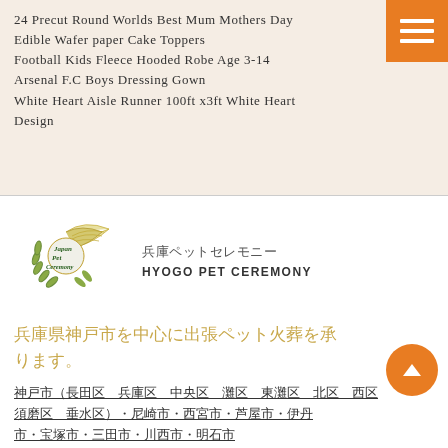24 Precut Round Worlds Best Mum Mothers Day Edible Wafer paper Cake Toppers
Football Kids Fleece Hooded Robe Age 3-14
Arsenal F.C Boys Dressing Gown
White Heart Aisle Runner 100ft x3ft White Heart Design
[Figure (logo): Japan Pet Ceremony logo with green wing and laurel design]
兵庫県神戸市を中心に出張ペット火葬を承ります。
神戸市（長田区 兵庫区 中央区 灘区 東灘区 北区 西区 須磨区 垂水区）・尼崎市・西宮市・芦屋市・伊丹市・宝塚市・三田市・川西市・明石市